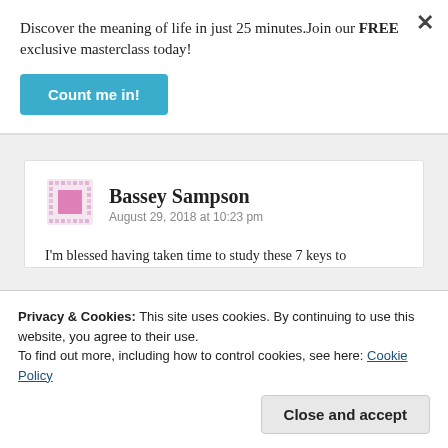Discover the meaning of life in just 25 minutes.Join our FREE exclusive masterclass today!
[Figure (other): Blue 'Count me in!' call-to-action button]
[Figure (other): Commenter avatar – pink pixel art square icon]
Bassey Sampson
August 29, 2018 at 10:23 pm
I'm blessed having taken time to study these 7 keys to overcoming fear. I want to say these keys works and I will teach others with it. God bless you.
Privacy & Cookies: This site uses cookies. By continuing to use this website, you agree to their use.
To find out more, including how to control cookies, see here: Cookie Policy